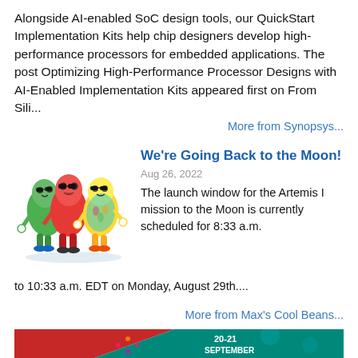Alongside AI-enabled SoC design tools, our QuickStart Implementation Kits help chip designers develop high-performance processors for embedded applications. The post Optimizing High-Performance Processor Designs with AI-Enabled Implementation Kits appeared first on From Sili...
More from Synopsys...
[Figure (illustration): Three cartoon bean characters wearing sunglasses and colorful clothes, dancing together. Left bean is green, middle bean is red, right bean is yellow wearing a Hawaiian shirt.]
We're Going Back to the Moon!
Aug 26, 2022
The launch window for the Artemis I mission to the Moon is currently scheduled for 8:33 a.m. to 10:33 a.m. EDT on Monday, August 29th....
More from Max's Cool Beans...
[Figure (illustration): A banner/advertisement image with red and teal geometric sections showing '20-21 SEPTEMBER' text and circuit board pattern decoration with colored dots.]